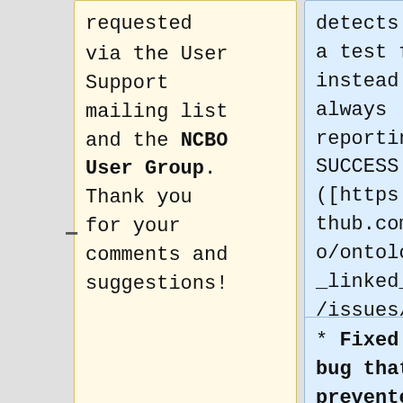requested via the User Support mailing list and the NCBO User Group. Thank you for your comments and suggestions!
detects when a test fails instead of always reporting SUCCESS ([https://github.com/ncbo/ontologies_linked_data/issues/111 ncbo/ontologies_linked_data#111])
* Fixed a bug that prevented the ontologies report refresh from